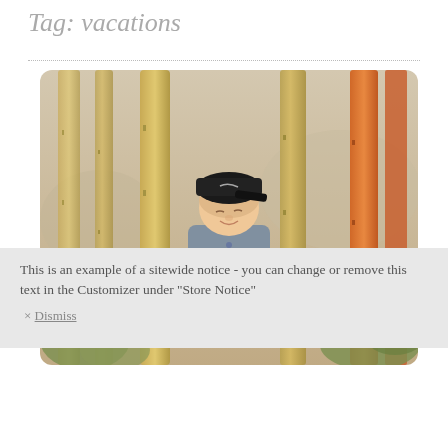Tag: vacations
[Figure (photo): A young boy wearing a black Nike cap and grey long-sleeve shirt, standing with arms outstretched among bamboo stalks and greenery]
This is an example of a sitewide notice - you can change or remove this text in the Customizer under "Store Notice"
× Dismiss